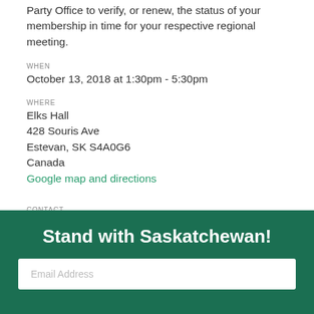Party Office to verify, or renew, the status of your membership in time for your respective regional meeting.
WHEN
October 13, 2018 at 1:30pm - 5:30pm
WHERE
Elks Hall
428 Souris Ave
Estevan, SK S4A0G6
Canada
Google map and directions
CONTACT
The Saskatchewan Party · info@saskparty.com · 306.359.1638
Stand with Saskatchewan!
Email Address